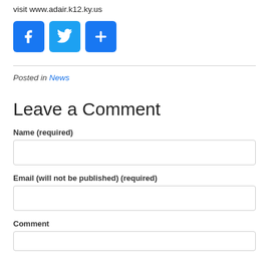visit www.adair.k12.ky.us
[Figure (other): Social media share buttons: Facebook (blue f icon), Twitter (blue bird icon), and a blue plus/share button]
Posted in News
Leave a Comment
Name (required)
Email (will not be published) (required)
Comment